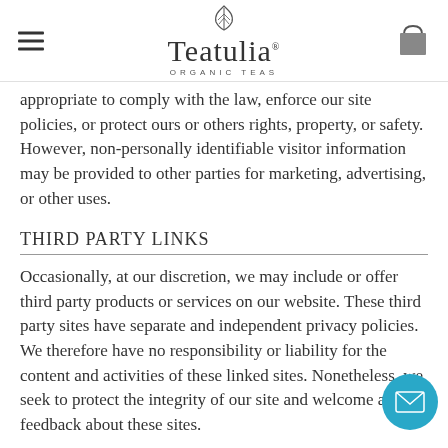Teatulia Organic Teas
appropriate to comply with the law, enforce our site policies, or protect ours or others rights, property, or safety. However, non-personally identifiable visitor information may be provided to other parties for marketing, advertising, or other uses.
THIRD PARTY LINKS
Occasionally, at our discretion, we may include or offer third party products or services on our website. These third party sites have separate and independent privacy policies. We therefore have no responsibility or liability for the content and activities of these linked sites. Nonetheless, we seek to protect the integrity of our site and welcome any feedback about these sites.